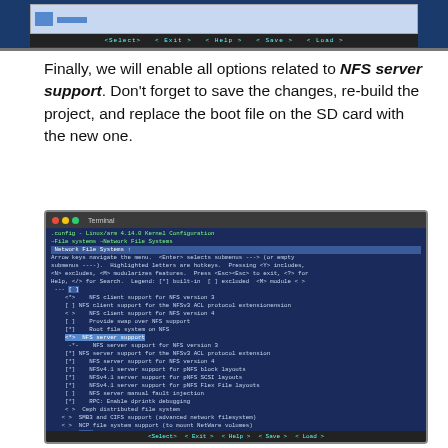[Figure (screenshot): Top portion of a Linux kernel configuration terminal screenshot (cropped), showing a blue background menu with a bottom bar containing Select, Exit, Help, Save, Load options.]
Finally, we will enable all options related to NFS server support. Don't forget to save the changes, re-build the project, and replace the boot file on the SD card with the new one.
[Figure (screenshot): Terminal window showing Linux/arm 4.14.0 Kernel Configuration, File systems > Network File Systems menu. Shows NFS client and server support options with asterisks indicating enabled features. 'NFS server support' is highlighted/selected in blue.]